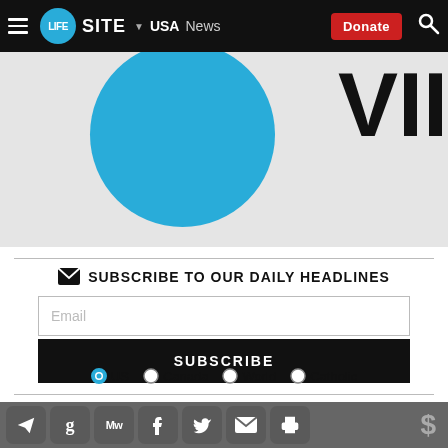LIFESITE | USA | News | Donate
[Figure (screenshot): Partial webpage screenshot showing a blue circle and 'VII' text on grey background]
SUBSCRIBE TO OUR DAILY HEADLINES
Email
SUBSCRIBE
US  Canada  World  Catholic
© May 21, 2021 Children's Health Defense, Inc. This
Social sharing icons: Telegram, Gettr, MeWe, Facebook, Twitter, Email, Print | Donate ($)